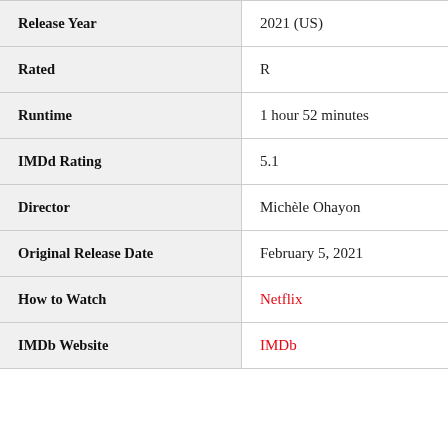| Field | Value |
| --- | --- |
| Release Year | 2021 (US) |
| Rated | R |
| Runtime | 1 hour 52 minutes |
| IMDd Rating | 5.1 |
| Director | Michèle Ohayon |
| Original Release Date | February 5, 2021 |
| How to Watch | Netflix |
| IMDb Website | IMDb |